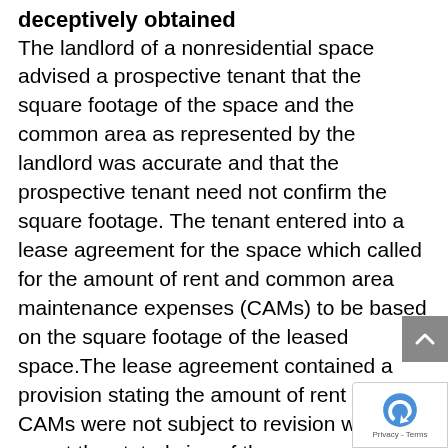Landlord: Waive Lease Agreement deceptively obtained
The landlord of a nonresidential space advised a prospective tenant that the square footage of the space and the common area as represented by the landlord was accurate and that the prospective tenant need not confirm the square footage. The tenant entered into a lease agreement for the space which called for the amount of rent and common area maintenance expenses (CAMs) to be based on the square footage of the leased space.The lease agreement contained a provision stating the amount of rent and CAMs were not subject to revision whether or not the stated size of the space was greater or lesser than represented. The tenant later learned the square footage the space was less than what was represented while the square footage of the common are